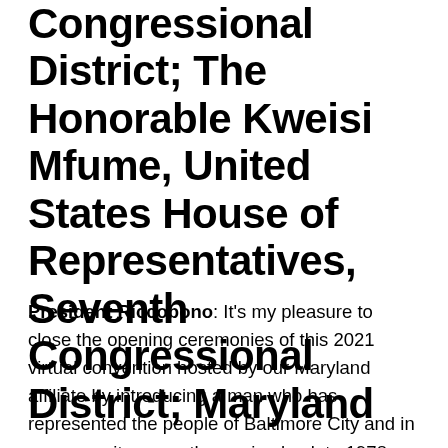Congressional District; The Honorable Kweisi Mfume, United States House of Representatives, Seventh Congressional District; Maryland
President Riccobono: It's my pleasure to close the opening ceremonies of this 2021 virtual convention hosted by our Maryland affiliate by introducing a man who has represented the people of Baltimore City and in one capacity or another, going back to 1978 When the federation first made Baltimore it's hull home for our national In 1978, Mr Mfume was elected to the